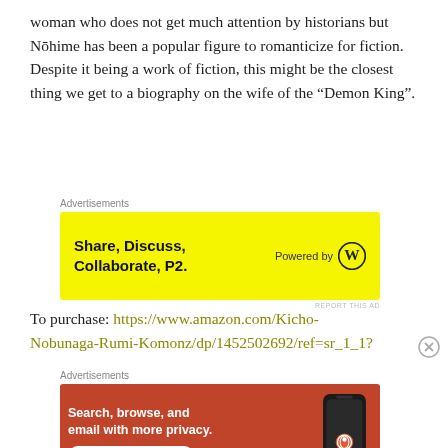woman who does not get much attention by historians but Nōhime has been a popular figure to romanticize for fiction. Despite it being a work of fiction, this might be the closest thing we get to a biography on the wife of the "Demon King".
[Figure (infographic): Yellow advertisement banner: 'Share, Discuss, Collaborate, P2. Powered by WordPress logo']
To purchase: https://www.amazon.com/Kicho-Nobunaga-Rumi-Komonz/dp/1452502692/ref=sr_1_1?
[Figure (infographic): Orange DuckDuckGo advertisement: 'Search, browse, and email with more privacy. All in One Free App' with phone image and DuckDuckGo logo]